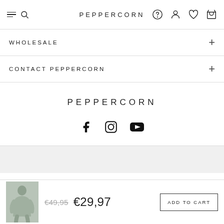PEPPERCORN
WHOLESALE
CONTACT PEPPERCORN
PEPPERCORN
[Figure (logo): Social media icons: Facebook, Instagram, YouTube]
[Figure (photo): Small product thumbnail of a woman wearing a grey top]
€49,95  €29,97  ADD TO CART